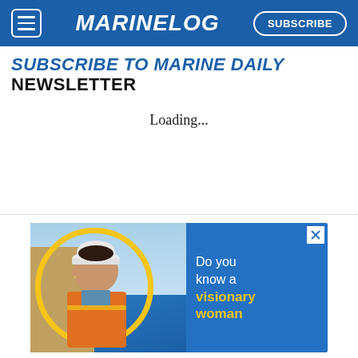MARINELOG — SUBSCRIBE
SUBSCRIBE TO MARINE DAILY NEWSLETTER
Loading...
[Figure (advertisement): Advertisement banner showing a woman in a hard hat and safety vest inside a yellow circle on a blue background, with text 'Do you know a visionary woman' on the right side. A close/X button is in the top right corner.]